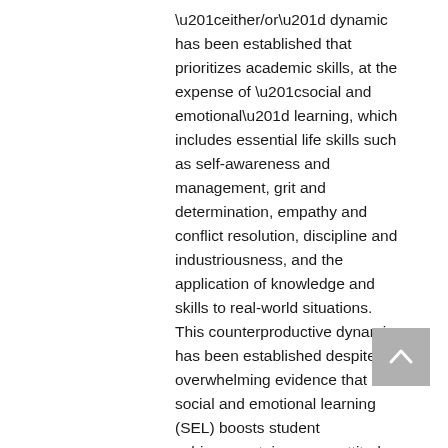“either/or” dynamic has been established that prioritizes academic skills, at the expense of “social and emotional” learning, which includes essential life skills such as self-awareness and management, grit and determination, empathy and conflict resolution, discipline and industriousness, and the application of knowledge and skills to real-world situations. This counterproductive dynamic has been established despite overwhelming evidence that social and emotional learning (SEL) boosts student achievement, improves attitudes and behaviors and reduces emotional distress.